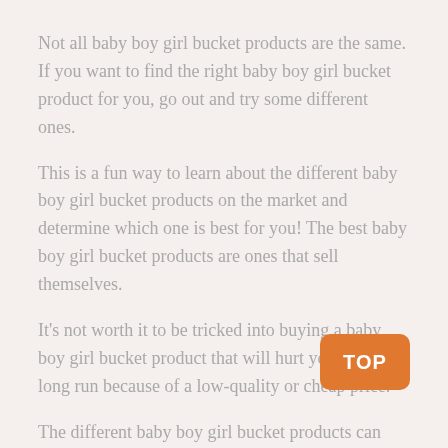Not all baby boy girl bucket products are the same. If you want to find the right baby boy girl bucket product for you, go out and try some different ones.
This is a fun way to learn about the different baby boy girl bucket products on the market and determine which one is best for you! The best baby boy girl bucket products are ones that sell themselves.
It's not worth it to be tricked into buying a baby boy girl bucket product that will hurt you in the long run because of a low-quality or cheap price.
The different baby boy girl bucket products can make your life easier and go a long way in saving you time, energy, and money.